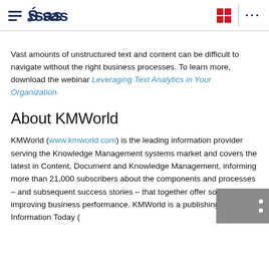SAS logo and navigation header
Vast amounts of unstructured text and content can be difficult to navigate without the right business processes. To learn more, download the webinar Leveraging Text Analytics in Your Organization.
About KMWorld
KMWorld (www.kmworld.com) is the leading information provider serving the Knowledge Management systems market and covers the latest in Content, Document and Knowledge Management, informing more than 21,000 subscribers about the components and processes – and subsequent success stories – that together offer solutions for improving business performance. KMWorld is a publishing unit of Information Today (www.infotoday.com).